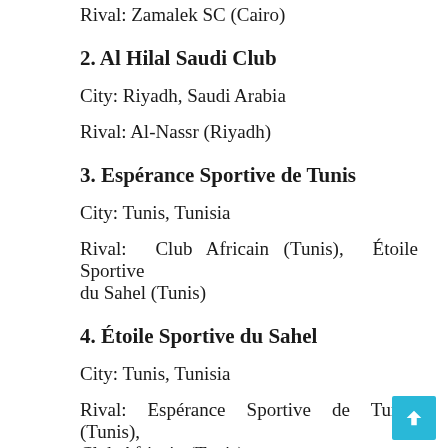Rival: Zamalek SC (Cairo)
2. Al Hilal Saudi Club
City: Riyadh, Saudi Arabia
Rival: Al-Nassr (Riyadh)
3. Espérance Sportive de Tunis
City: Tunis, Tunisia
Rival: Club Africain (Tunis), Étoile Sportive du Sahel (Tunis)
4. Étoile Sportive du Sahel
City: Tunis, Tunisia
Rival: Espérance Sportive de Tunis (Tunis), Club Africain (Tunis)
5. Al-Ahli Saudi FC